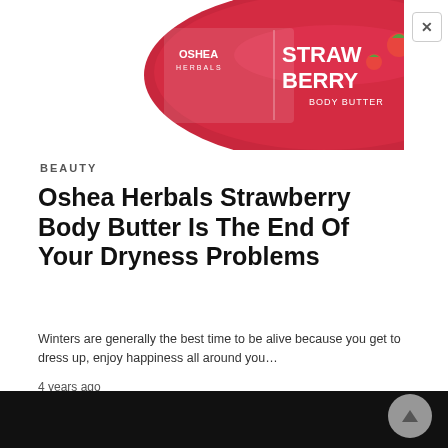[Figure (photo): Oshea Herbals Strawberry Body Butter product tin - red circular container with brand name and strawberry imagery]
BEAUTY
Oshea Herbals Strawberry Body Butter Is The End Of Your Dryness Problems
Winters are generally the best time to be alive because you get to dress up, enjoy happiness all around you…
4 years ago
[Figure (photo): Dark background image, partially visible at bottom of page]